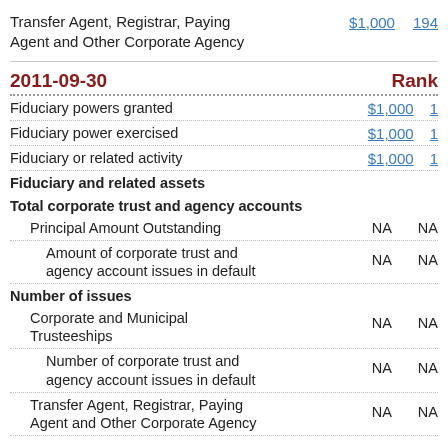| Item | Value | Rank |
| --- | --- | --- |
| Transfer Agent, Registrar, Paying Agent and Other Corporate Agency | $1,000 | 194 |
2011-09-30   Rank
| Item | Value | Rank |
| --- | --- | --- |
| Fiduciary powers granted | $1,000 | 1 |
| Fiduciary power exercised | $1,000 | 1 |
| Fiduciary or related activity | $1,000 | 1 |
| Fiduciary and related assets |  |  |
| Total corporate trust and agency accounts |  |  |
| Principal Amount Outstanding | NA | NA |
| Amount of corporate trust and agency account issues in default | NA | NA |
| Number of issues |  |  |
| Corporate and Municipal Trusteeships | NA | NA |
| Number of corporate trust and agency account issues in default | NA | NA |
| Transfer Agent, Registrar, Paying Agent and Other Corporate Agency | NA | NA |
2011-06-30   Rank
| Item | Value | Rank |
| --- | --- | --- |
| Fiduciary powers granted | $1,000 | 1 |